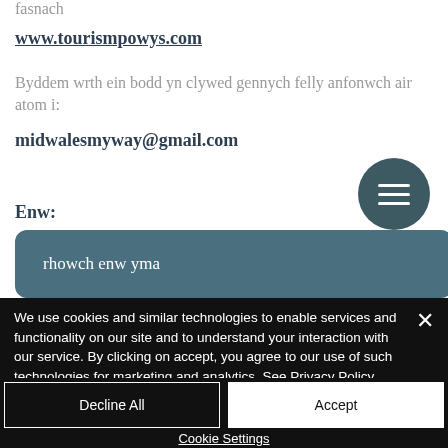fasnach
www.tourismpowys.com
Byddem wrth ein bodd yn clywed gennych felly anfonwch air atom i:
midwalesmyway@gmail.com
Enw:
rhowch enw yma
We use cookies and similar technologies to enable services and functionality on our site and to understand your interaction with our service. By clicking on accept, you agree to our use of such technologies for marketing and analytics. See Privacy Policy
Decline All
Accept
Cookie Settings